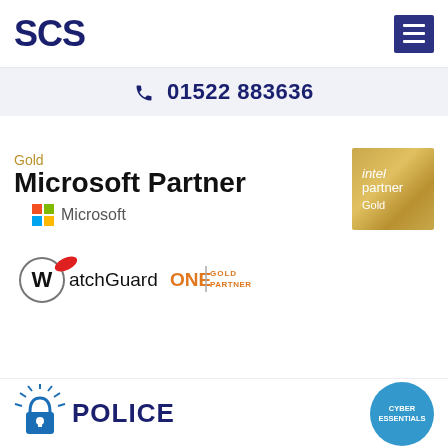[Figure (logo): SCS company logo in dark navy blue bold text]
[Figure (logo): Hamburger menu icon (three horizontal lines) on dark purple/blue background]
☎ 01522 883636
[Figure (logo): Gold Microsoft Partner badge with Microsoft logo and 'Gold' and 'Microsoft Partner' text]
[Figure (logo): Intel Partner Gold badge - gold gradient square with intel partner Gold text]
[Figure (logo): WatchGuardONE Gold Partner logo]
[Figure (logo): Police CyberAlarm logo with stylized padlock and circuit board design]
[Figure (logo): Cyber Essentials badge - blue circle with white text]